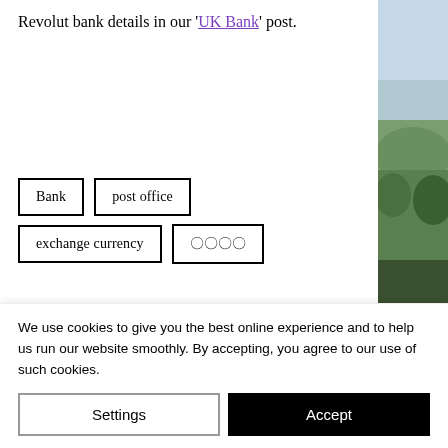Revolut bank details in our 'UK Bank' post.
Bank
post office
exchange currency
🔒🔒🔒🔒
Finance • Travel
[Figure (other): Social share icons: Facebook, Twitter, link/chain]
[Figure (photo): Green hillside landscape photo strip on right side]
We use cookies to give you the best online experience and to help us run our website smoothly. By accepting, you agree to our use of such cookies.
Settings
Accept